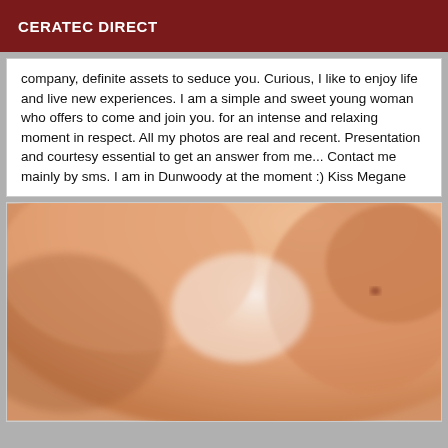CERATEC DIRECT
company, definite assets to seduce you. Curious, I like to enjoy life and live new experiences. I am a simple and sweet young woman who offers to come and join you. for an intense and relaxing moment in respect. All my photos are real and recent. Presentation and courtesy essential to get an answer from me... Contact me mainly by sms. I am in Dunwoody at the moment :) Kiss Megane
[Figure (photo): Blurred close-up photo]